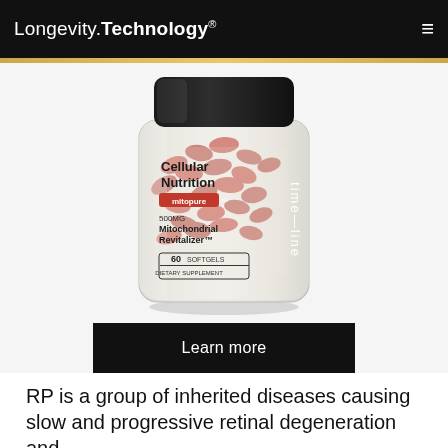Longevity.Technology®
[Figure (photo): A cylindrical supplement bottle by Timeline Biosciences with a dark cap, frosted/clear body filled with red softgel capsules. Label reads: Cellular Nutrition, mitopure, 500MG, Mitochondrial Revitalizer, 60 SOFTGELS, DIETARY SUPPLEMENT. The brand name 'time—line' is printed vertically on the right side of the bottle.]
Learn more
RP is a group of inherited diseases causing slow and progressive retinal degeneration and